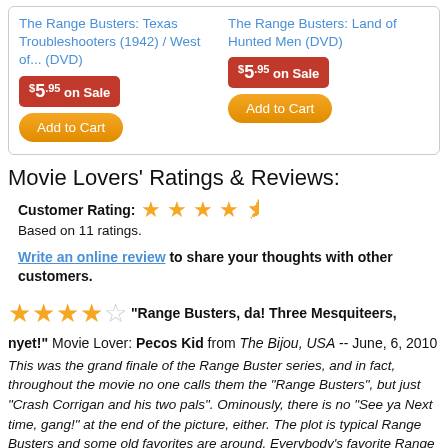The Range Busters: Texas Troubleshooters (1942) / West of... (DVD)
$5.95 on Sale
Add to Cart
The Range Busters: Land of Hunted Men (DVD)
$5.95 on Sale
Add to Cart
Movie Lovers' Ratings & Reviews:
Customer Rating: ★★★★½
Based on 11 ratings.
Write an online review to share your thoughts with other customers.
★★★★☆ "Range Busters, da! Three Mesquiteers, nyet!" Movie Lover: Pecos Kid from The Bijou, USA -- June, 6, 2010
This was the grand finale of the Range Buster series, and in fact, throughout the movie no one calls them the "Range Busters", but just "Crash Corrigan and his two pals". Ominously, there is no "See ya Next time, gang!" at the end of the picture, either. The plot is typical Range Busters and some old favorites are around. Everybody's favorite Range